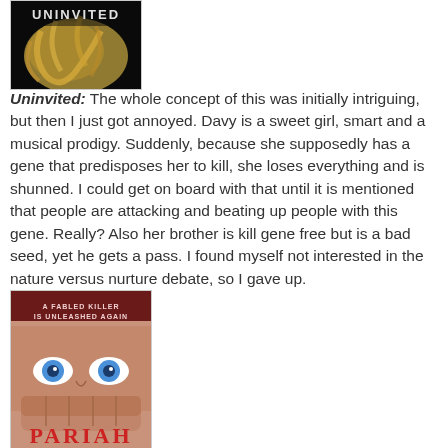[Figure (illustration): Book cover of 'Uninvited' showing blonde hair on a dark background]
Uninvited: The whole concept of this was initially intriguing, but then I just got annoyed. Davy is a sweet girl, smart and a musical prodigy. Suddenly, because she supposedly has a gene that predisposes her to kill, she loses everything and is shunned. I could get on board with that until it is mentioned that people are attacking and beating up people with this gene. Really? Also her brother is kill gene free but is a bad seed, yet he gets a pass. I found myself not interested in the nature versus nurture debate, so I gave up.
[Figure (illustration): Book cover of 'Pariah' showing a creepy face with blue eyes and text 'A Fabled Killer Is Unleashed Again']